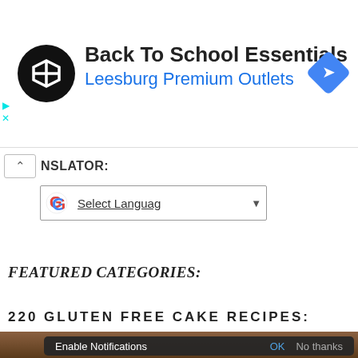[Figure (screenshot): Ad banner: Back To School Essentials at Leesburg Premium Outlets with logo and navigation icon]
NSLATOR:
[Figure (screenshot): Google Translate widget with Select Language dropdown]
FEATURED CATEGORIES:
220 GLUTEN FREE CAKE RECIPES:
[Figure (photo): Food photo of cake/baked goods]
Enable Notifications  OK  No thanks